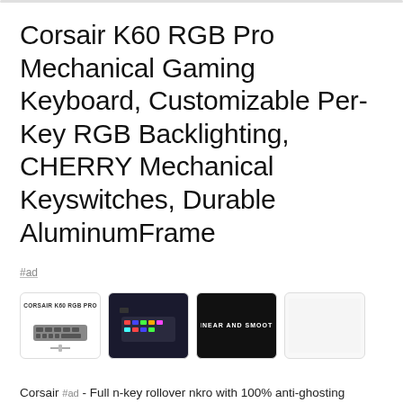Corsair K60 RGB Pro Mechanical Gaming Keyboard, Customizable Per-Key RGB Backlighting, CHERRY Mechanical Keyswitches, Durable AluminumFrame
#ad
[Figure (screenshot): Row of four product image thumbnails for the Corsair K60 RGB Pro keyboard]
As an Amazon Associate I earn from qualifying purchases. This website uses the only necessary cookies to ensure you get the best experience on our website. More information
Corsair #ad - Full n-key rollover nkro with 100% anti-ghosting